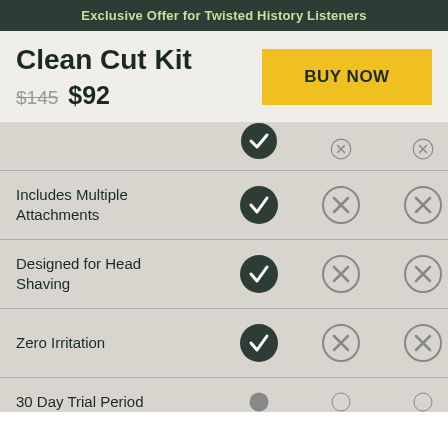Exclusive Offer for Twisted History Listeners
Clean Cut Kit
$145  $92
| Feature | Clean Cut Kit | Competitor 1 | Competitor 2 |
| --- | --- | --- | --- |
| Includes Multiple Attachments | ✓ | ✗ | ✗ |
| Designed for Head Shaving | ✓ | ✗ | ✗ |
| Zero Irritation | ✓ | ✗ | ✗ |
| 30 Day Trial Period |  |  |  |